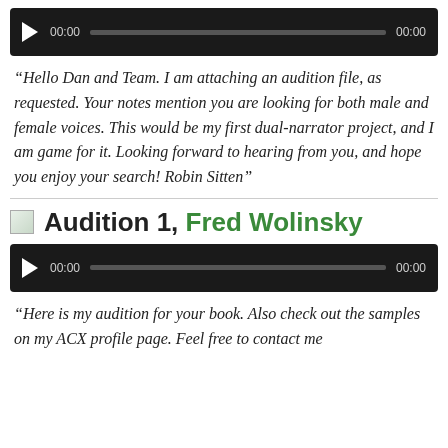[Figure (other): Audio player with play button, time display 00:00, progress bar, and end time 00:00 on dark background]
“Hello Dan and Team. I am attaching an audition file, as requested. Your notes mention you are looking for both male and female voices. This would be my first dual-narrator project, and I am game for it. Looking forward to hearing from you, and hope you enjoy your search! Robin Sitten”
Audition 1, Fred Wolinsky
[Figure (other): Audio player with play button, time display 00:00, progress bar, and end time 00:00 on dark background]
“Here is my audition for your book. Also check out the samples on my ACX profile page. Feel free to contact me